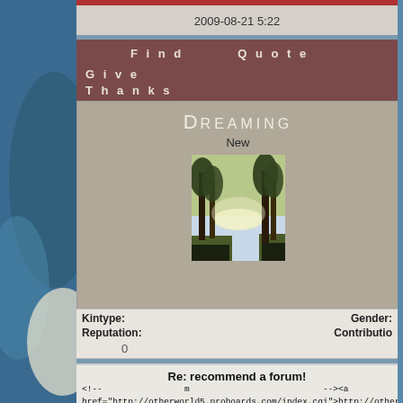2009-08-21 5:22
Find    Quote
Give Thanks
Dreaming
New
[Figure (photo): Outdoor scene with trees and water/lake in sunlight]
| Kintype: | Gender: |
| --- | --- |
| Reputation: | Contribution: |
| 0 |  |
Re: recommend a forum!
<!-- m --><a href="http://otherworld5.proboards.com/index.cgi">http://otherworld5.proboards <!-- m --> <!-- s:star: --><img src="{SMILIES_PATH}/star.gif" alt=":star:" title="st <!-- s:star: --><img src="{SMILIES_PATH}/star.gif" alt=":star:" title="star" /><!-- s --><img src="{SMILIES_PATH}/star.gif" alt=":star:" title="star" /><!-- s:star: --> src="{SMILIES_PATH}/star.gif" alt=":star:" title="star" /><!-- s:star: -->